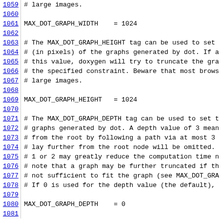1059  # large images.
1060
1061  MAX_DOT_GRAPH_WIDTH    = 1024
1062
1063  # The MAX_DOT_GRAPH_HEIGHT tag can be used to set
1064  # (in pixels) of the graphs generated by dot. If a
1065  # this value, doxygen will try to truncate the gra
1066  # the specified constraint. Beware that most brows
1067  # large images.
1068
1069  MAX_DOT_GRAPH_HEIGHT   = 1024
1070
1071  # The MAX_DOT_GRAPH_DEPTH tag can be used to set t
1072  # graphs generated by dot. A depth value of 3 mean
1073  # from the root by following a path via at most 3
1074  # lay further from the root node will be omitted.
1075  # 1 or 2 may greatly reduce the computation time n
1076  # note that a graph may be further truncated if th
1077  # not sufficient to fit the graph (see MAX_DOT_GRA
1078  # If 0 is used for the depth value (the default),
1079
1080  MAX_DOT_GRAPH_DEPTH    = 0
1081